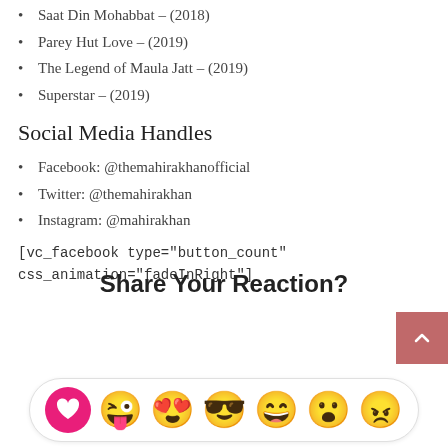Saat Din Mohabbat – (2018)
Parey Hut Love – (2019)
The Legend of Maula Jatt – (2019)
Superstar – (2019)
Social Media Handles
Facebook: @themahirakhanofficial
Twitter: @themahirakhan
Instagram: @mahirakhan
[vc_facebook type="button_count" css_animation="fadeInRight"]
Share Your Reaction?
[Figure (infographic): Reaction bar with heart button and 6 emoji faces: winking tongue, heart eyes, sunglasses, laughing, surprised, and grumpy]